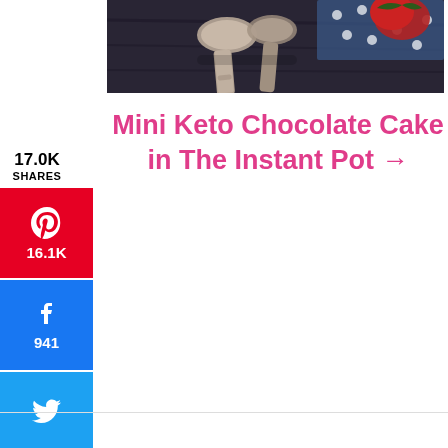[Figure (photo): Photo of two silver/rose gold spoons on a dark wooden surface with a red strawberry and blue dotted fabric, partially visible at top of page]
Mini Keto Chocolate Cake in The Instant Pot →
17.0K SHARES
[Figure (infographic): Pinterest share button with heart/P icon and count 16.1K]
[Figure (infographic): Facebook share button with f icon and count 941]
[Figure (infographic): Twitter share button with bird icon]